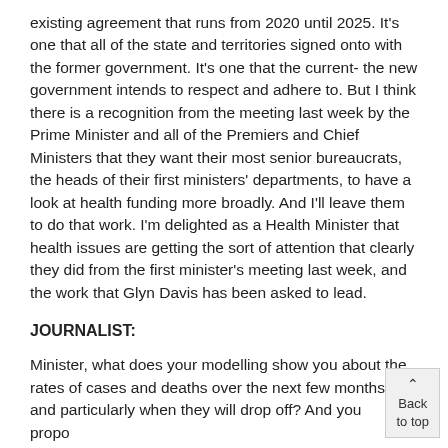existing agreement that runs from 2020 until 2025. It's one that all of the state and territories signed onto with the former government. It's one that the current- the new government intends to respect and adhere to. But I think there is a recognition from the meeting last week by the Prime Minister and all of the Premiers and Chief Ministers that they want their most senior bureaucrats, the heads of their first ministers' departments, to have a look at health funding more broadly. And I'll leave them to do that work. I'm delighted as a Health Minister that health issues are getting the sort of attention that clearly they did from the first minister's meeting last week, and the work that Glyn Davis has been asked to lead.
JOURNALIST:
Minister, what does your modelling show you about the rates of cases and deaths over the next few months, and particularly when they will drop off? And you propose to